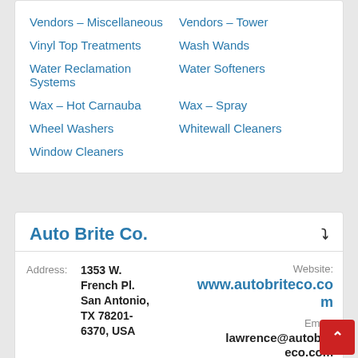Vendors – Miscellaneous
Vendors – Tower
Vinyl Top Treatments
Wash Wands
Water Reclamation Systems
Water Softeners
Wax – Hot Carnauba
Wax – Spray
Wheel Washers
Whitewall Cleaners
Window Cleaners
Auto Brite Co.
Address: 1353 W. French Pl. San Antonio, TX 78201-6370, USA
Website: www.autobriteco.com
Email: lawrence@autobriteco.com
Phone: 210 736-1892